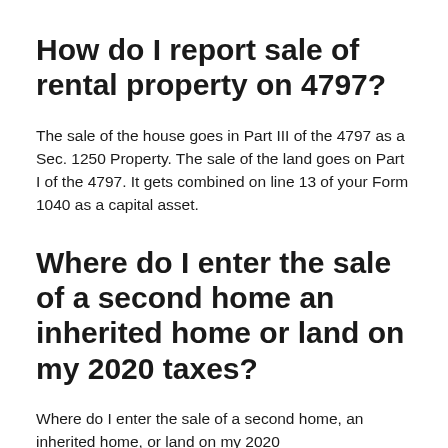How do I report sale of rental property on 4797?
The sale of the house goes in Part III of the 4797 as a Sec. 1250 Property. The sale of the land goes on Part I of the 4797. It gets combined on line 13 of your Form 1040 as a capital asset.
Where do I enter the sale of a second home an inherited home or land on my 2020 taxes?
Where do I enter the sale of a second home, an inherited home, or land on my 2020